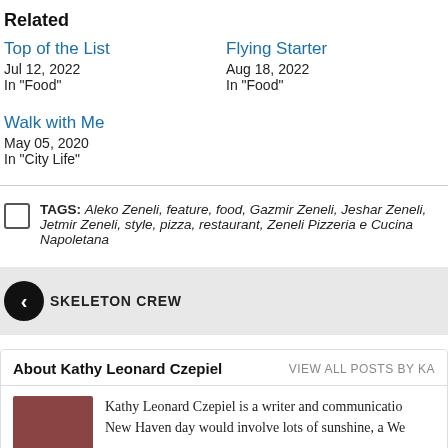Related
Top of the List
Jul 12, 2022
In "Food"
Flying Starter
Aug 18, 2022
In "Food"
Walk with Me
May 05, 2020
In "City Life"
TAGS: Aleko Zeneli, feature, food, Gazmir Zeneli, Jeshar Zeneli, Jetmir Zeneli, style, pizza, restaurant, Zeneli Pizzeria e Cucina Napoletana
SKELETON CREW
About Kathy Leonard Czepiel
VIEW ALL POSTS BY KA
Kathy Leonard Czepiel is a writer and communicatio New Haven day would involve lots of sunshine, a We